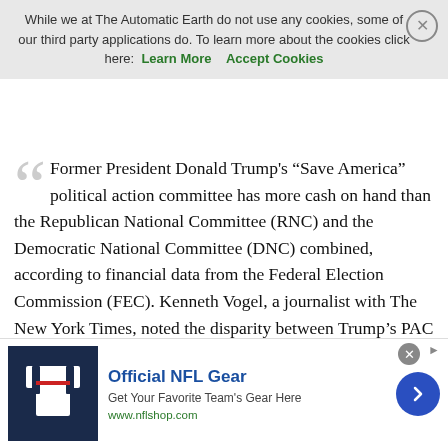While we at The Automatic Earth do not use any cookies, some of our third party applications do. To learn more about the cookies click here: Learn More   Accept Cookies
Former President Donald Trump's “Save America” political action committee has more cash on hand than the Republican National Committee (RNC) and the Democratic National Committee (DNC) combined, according to financial data from the Federal Election Commission (FEC). Kenneth Vogel, a journalist with The New York Times, noted the disparity between Trump’s PAC and the committees’ funds in a tweet on Monday. Vogel said that FEC records show Save America reported $110.4 million in cash on hand as of February 28, compared to the DNC’s $52.9 million and the RNC’s $24.5 million. Trump has suggested multiple times since President Joe Biden took office in January 2021 that he might mount another run at the White House in 2024, though he has not yet officially announced a campaign.
[Figure (other): Advertisement banner for Official NFL Gear with team jersey image, tagline 'Get Your Favorite Team's Gear Here', URL www.nflshop.com, and a blue arrow button]